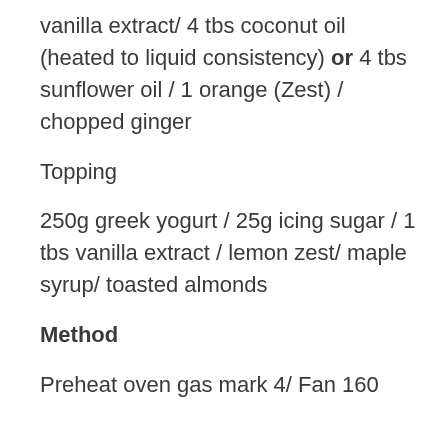vanilla extract/ 4 tbs coconut oil (heated to liquid consistency) or 4 tbs sunflower oil / 1 orange (Zest) / chopped ginger
Topping
250g greek yogurt / 25g icing sugar / 1 tbs vanilla extract / lemon zest/ maple syrup/ toasted almonds
Method
Preheat oven gas mark 4/ Fan 160